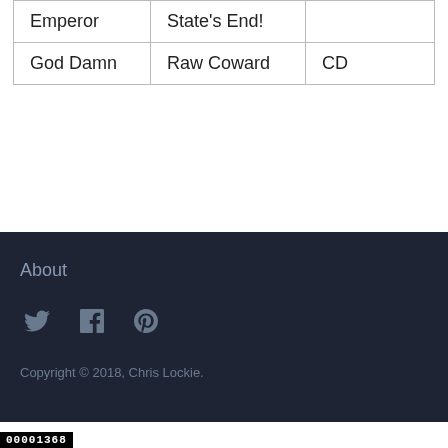| Emperor | State's End! |  |
| God Damn | Raw Coward | CD |
About
Copyright © 2018, Chris Lockie
00001368